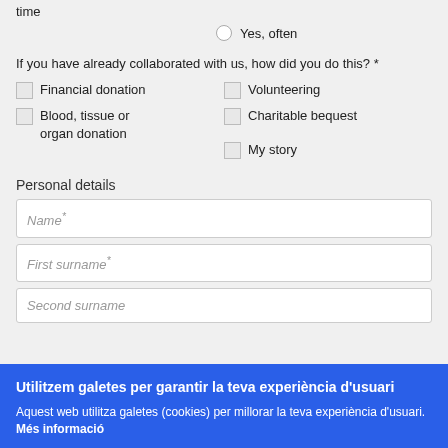time
Yes, often
If you have already collaborated with us, how did you do this? *
Financial donation
Volunteering
Blood, tissue or organ donation
Charitable bequest
My story
Personal details
Name *
First surname *
Second surname
Utilitzem galetes per garantir la teva experiència d'usuari
Aquest web utilitza galetes (cookies) per millorar la teva experiència d'usuari. Més informació